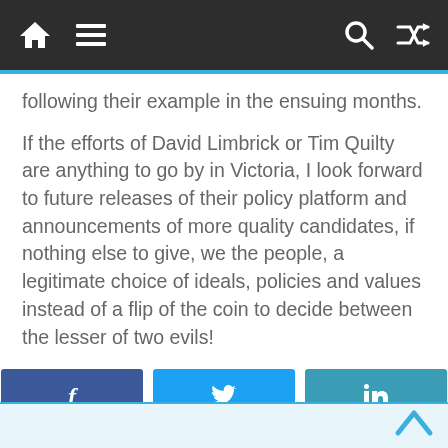[navigation bar with home, menu, search, and shuffle icons]
following their example in the ensuing months.
If the efforts of David Limbrick or Tim Quilty are anything to go by in Victoria, I look forward to future releases of their policy platform and announcements of more quality candidates, if nothing else to give, we the people, a legitimate choice of ideals, policies and values instead of a flip of the coin to decide between the lesser of two evils!
[Figure (other): Social share buttons: Facebook (dark blue), Twitter (light blue), LinkedIn (teal blue), Telegram (blue), WhatsApp (green)]